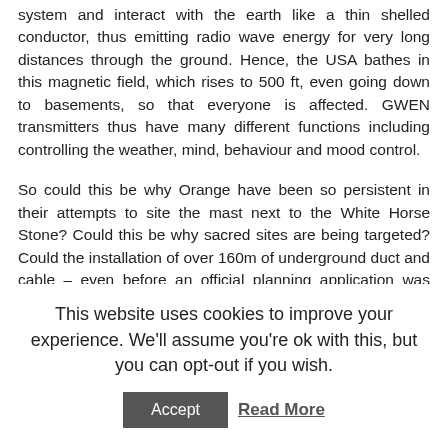system and interact with the earth like a thin shelled conductor, thus emitting radio wave energy for very long distances through the ground. Hence, the USA bathes in this magnetic field, which rises to 500 ft, even going down to basements, so that everyone is affected. GWEN transmitters thus have many different functions including controlling the weather, mind, behaviour and mood control.
So could this be why Orange have been so persistent in their attempts to site the mast next to the White Horse Stone? Could this be why sacred sites are being targeted? Could the installation of over 160m of underground duct and cable – even before an official planning application was made to Maidstone Borough Council – offer us just a little clue as to what is really being erected here – a GWEN
This website uses cookies to improve your experience. We'll assume you're ok with this, but you can opt-out if you wish.